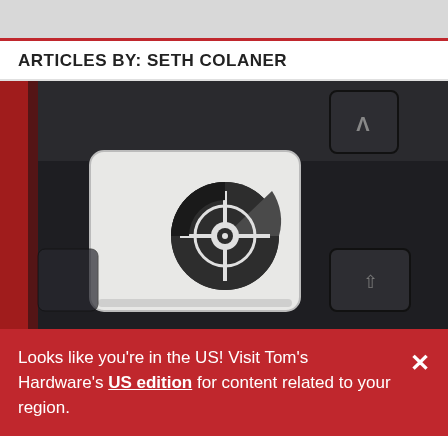[Figure (photo): Partial gray banner/header image at the top of the page]
ARTICLES BY: SETH COLANER
[Figure (photo): Close-up photo of a gaming keyboard with a white key featuring a circular crosshair/target logo icon, surrounded by black keys. Red accent lighting visible on the left side.]
Looks like you're in the US! Visit Tom's Hardware's US edition for content related to your region.